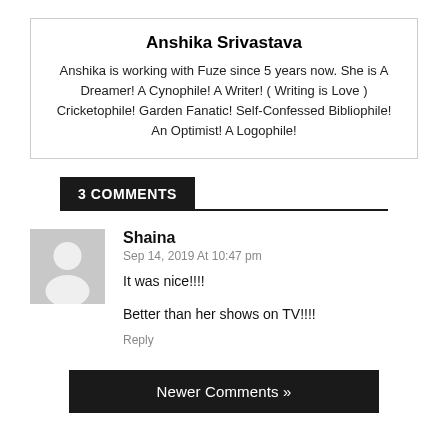Anshika Srivastava
Anshika is working with Fuze since 5 years now. She is A Dreamer! A Cynophile! A Writer! ( Writing is Love ) Cricketophile! Garden Fanatic! Self-Confessed Bibliophile! An Optimist! A Logophile!
3 COMMENTS
Shaina
Sep 14, 2019 At 10:47 pm
It was nice!!!!

Better than her shows on TV!!!!
Reply
Newer Comments »